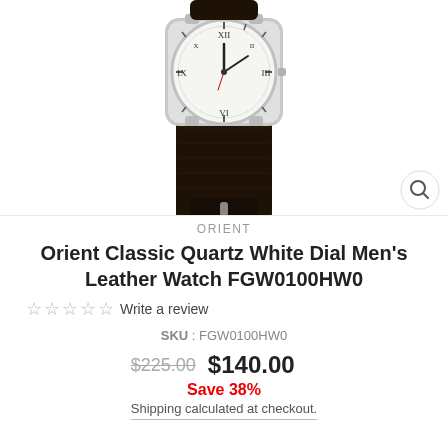[Figure (photo): Orient Classic Quartz watch with white Roman numeral dial, silver case, and dark brown leather strap, shown at an angle on a white background.]
ORIENT
Orient Classic Quartz White Dial Men's Leather Watch FGW0100HW0
☆☆☆☆☆ Write a review
SKU : FGW0100HW0
$225.00  $140.00
Save 38%
Shipping calculated at checkout.